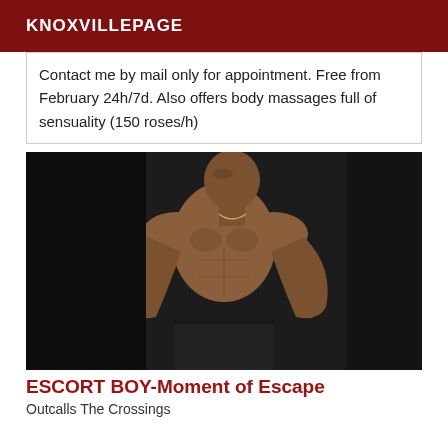KNOXVILLEPAGE
Contact me by mail only for appointment. Free from February 24h/7d. Also offers body massages full of sensuality (150 roses/h)
[Figure (photo): Shirtless muscular man posing with hands on hips against dark background]
ESCORT BOY-Moment of Escape
Outcalls The Crossings